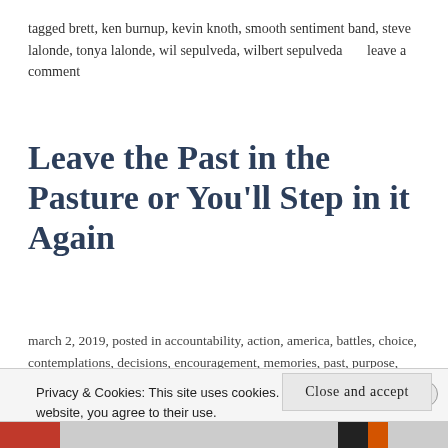tagged brett, ken burnup, kevin knoth, smooth sentiment band, steve lalonde, tonya lalonde, wil sepulveda, wilbert sepulveda      leave a comment
Leave the Past in the Pasture or You'll Step in it Again
march 2, 2019, posted in accountability, action, america, battles, choice, contemplations, decisions, encouragement, memories, past, purpose, relationships, remembering,
Privacy & Cookies: This site uses cookies. By continuing to use this website, you agree to their use.
To find out more, including how to control cookies, see here:
Cookie Policy